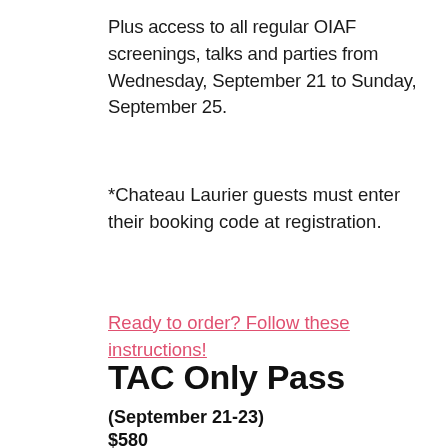Plus access to all regular OIAF screenings, talks and parties from Wednesday, September 21 to Sunday, September 25.
*Chateau Laurier guests must enter their booking code at registration.
Ready to order? Follow these instructions!
TAC Only Pass
(September 21-23)
$580